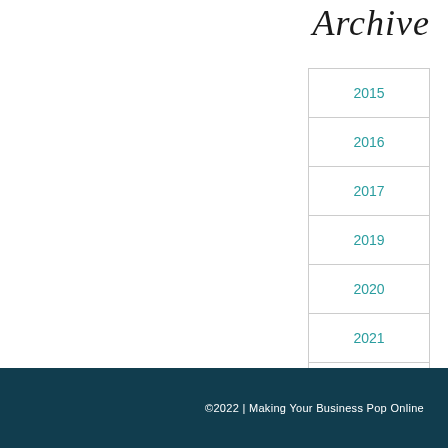Archive
2015
2016
2017
2019
2020
2021
2022
©2022 | Making Your Business Pop Online